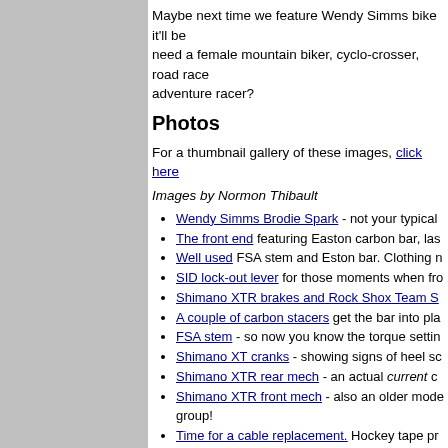[Figure (other): Gray sidebar panel on the left side of the page]
Maybe next time we feature Wendy Simms bike it'll be need a female mountain biker, cyclo-crosser, road race adventure racer?
Photos
For a thumbnail gallery of these images, click here
Images by Normon Thibault
Wendy Simms Brodie Spark - not your typical
The front end featuring Easton carbon bar, las
Well used FSA stem and Eston bar. Clothing n
SID lock-out lever for those moments when fro
Shimano XTR brakes and Rock Shox Team S
A couple of carbon stacers get the bar into pla
FSA stem - so now you know the torque settin
Shimano XT cranks - showing signs of heel sc
Shimano XTR rear mech - an actual current c
Shimano XTR front mech - also an older mode group!
Time for a cable replacement. Hockey tape pr
Selle italia saddle has seen some serious use
Wheels by Wheelsmith - no fuss, no gimmicks
Maxxis Oriflamme tyres - donated on condition
Curvy stays frame Maxxis's fast-rolling Oriflan
Salsa titanium QRs hold the wheels in place.
Geax sealant for when disaster strikes.
Wendy Simms at the start of her first NORBA,
Wendy Simms rides at the front with top US p
Wendy Sims' rig - the bike, the car and the roo